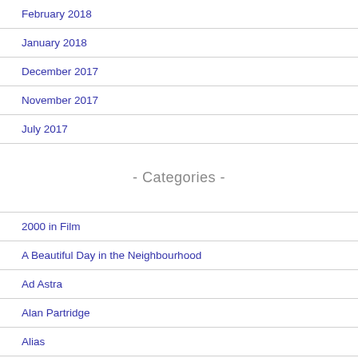February 2018
January 2018
December 2017
November 2017
July 2017
- Categories -
2000 in Film
A Beautiful Day in the Neighbourhood
Ad Astra
Alan Partridge
Alias
Batman